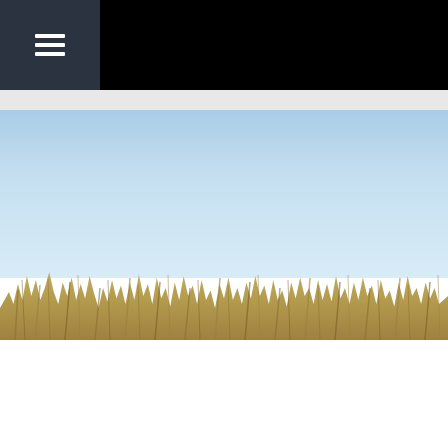[Figure (photo): Website screenshot showing a navigation header bar with black background and a dark gray hamburger menu icon on the left side, followed by a landscape photograph of dry coastal grass or beach grass against a clear pale blue sky. The lower portion of the page is white/empty.]